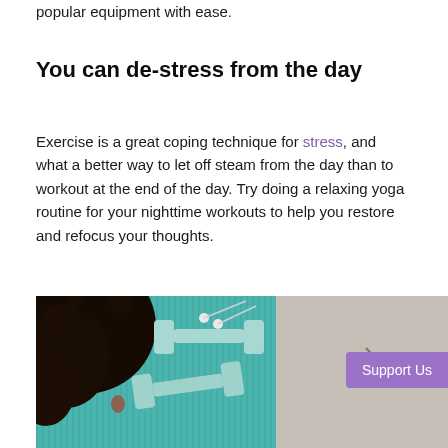popular equipment with ease.
You can de-stress from the day
Exercise is a great coping technique for stress, and what a better way to let off steam from the day than to workout at the end of the day. Try doing a relaxing yoga routine for your nighttime workouts to help you restore and refocus your thoughts.
[Figure (photo): Overhead view of a person with curly black hair lying on a teal yoga mat next to two light green dumbbells, with a stone/concrete surface on the right side. A 'Support Us' button overlay is visible in the lower right.]